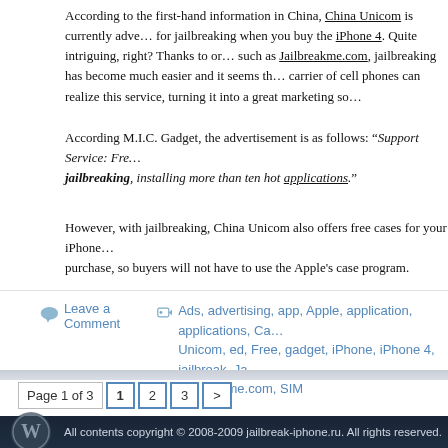According to the first-hand information in China, China Unicom is currently advertising for jailbreaking when you buy the iPhone 4. Quite intriguing, right? Thanks to online services such as Jailbreakme.com, jailbreaking has become much easier and it seems that even a carrier of cell phones can realize this service, turning it into a great marketing solution.
According M.I.C. Gadget, the advertisement is as follows: "Support Service: Free jailbreaking, installing more than ten hot applications."
However, with jailbreaking, China Unicom also offers free cases for your iPhone with any purchase, so buyers will not have to use the Apple's case program.
Leave a Comment   Ads, advertising, app, Apple, application, applications, Ca... Unicom, ed, Free, gadget, iPhone, iPhone 4, jailbreak, Ja... jailbreakme.com, SIM
Page 1 of 3  1  2  3  >
All contents copyright © 2008-2009 jailbreak-iphone.ru. All rights reserved.